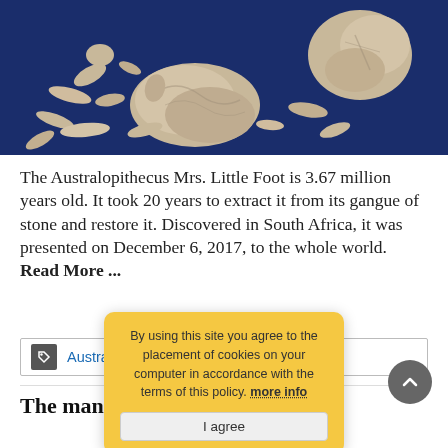[Figure (photo): Fossil bones of Australopithecus 'Mrs. Little Foot' laid out on a dark blue surface, including skull fragments and small bone pieces]
The Australopithecus Mrs. Little Foot is 3.67 million years old. It took 20 years to extract it from its gangue of stone and restore it. Discovered in South Africa, it was presented on December 6, 2017, to the whole world. Read More ...
Australopithecus · South Africa
By using this site you agree to the placement of cookies on your computer in accordance with the terms of this policy. more info
I agree
The man who was going shopping